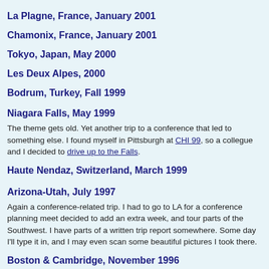La Plagne, France, January 2001
Chamonix, France, January 2001
Tokyo, Japan, May 2000
Les Deux Alpes, 2000
Bodrum, Turkey, Fall 1999
Niagara Falls, May 1999
The theme gets old. Yet another trip to a conference that led to something else. I found myself in Pittsburgh at CHI 99, so a collegue and I decided to drive up to the Falls.
Haute Nendaz, Switzerland, March 1999
Arizona-Utah, July 1997
Again a conference-related trip. I had to go to LA for a conference planning meet decided to add an extra week, and tour parts of the Southwest. I have parts of a written trip report somewhere. Some day I'll type it in, and I may even scan some beautiful pictures I took there.
Boston & Cambridge, November 1996
I went to visit the CSCW conference in Cambridge. The trip report is not quite finished yet.
Vancouver, April '96